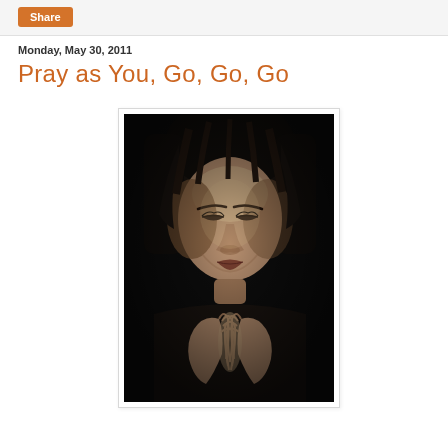Share
Monday, May 30, 2011
Pray as You, Go, Go, Go
[Figure (photo): A woman with dark hair and closed eyes, hands clasped together in a prayer pose, photographed in a dramatic dark-toned style with light highlighting her face and hands.]